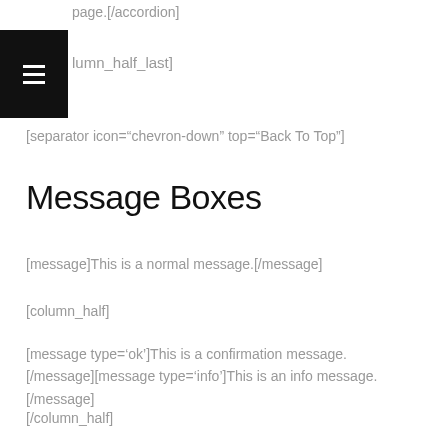page.[/accordion]
[column_half_last]
[separator icon="chevron-down" top="Back To Top"]
Message Boxes
[message]This is a normal message.[/message]
[column_half]
[message type='ok']This is a confirmation message.[/message][message type='info']This is an info message.[/message]
[/column_half]
[column_half_last]
[message type='error']This is an error message.[/message]